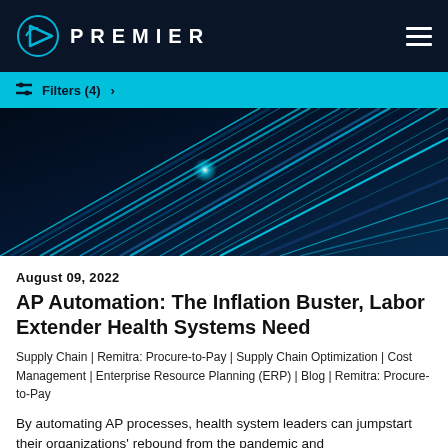PREMIER
Filters (4) >
[Figure (photo): Abstract technology background with glowing cyan/blue fiber optic light streaks on dark background]
August 09, 2022
AP Automation: The Inflation Buster, Labor Extender Health Systems Need
Supply Chain | Remitra: Procure-to-Pay | Supply Chain Optimization | Cost Management | Enterprise Resource Planning (ERP) | Blog | Remitra: Procure-to-Pay
By automating AP processes, health system leaders can jumpstart their organizations' rebound from the pandemic and